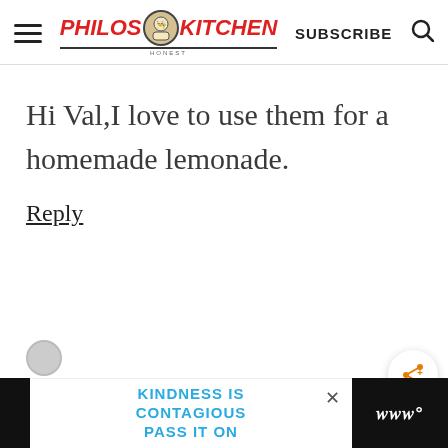Philos Kitchen — SUBSCRIBE
Hi Val,I love to use them for a homemade lemonade.
Reply
[Figure (other): Share button icon (orange share/network icon with plus sign on white circle)]
[Figure (other): What's Next widget with tortellini thumbnail: WHAT'S NEXT → HOMEMADE TORTELLINI...]
[Figure (other): Advertisement banner: KINDNESS IS CONTAGIOUS PASS IT ON with close button and logo on right]